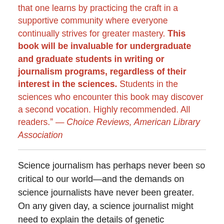that one learns by practicing the craft in a supportive community where everyone continually strives for greater mastery. This book will be invaluable for undergraduate and graduate students in writing or journalism programs, regardless of their interest in the sciences. Students in the sciences who encounter this book may discover a second vocation. Highly recommended. All readers." — Choice Reviews, American Library Association
Science journalism has perhaps never been so critical to our world—and the demands on science journalists have never been greater. On any given day, a science journalist might need to explain the details of genetic engineering, analyze a development in climate change research, or serve as a watchdog helping to ensure the integrity of the scientific enterprise. And science writers have to spin tales seductive enough to keep readers hooked to the end, despite the endless other delights just a click away. How